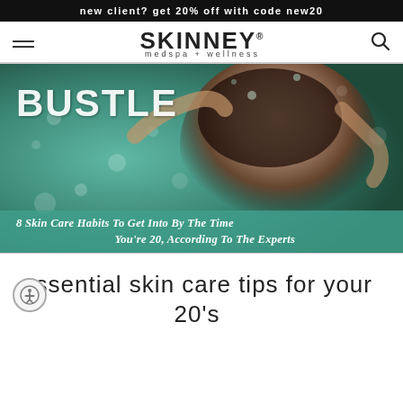new client? get 20% off with code new20
[Figure (logo): Skinney Medspa + Wellness logo with hamburger menu on left and search icon on right]
[Figure (photo): Bustle magazine feature image showing a woman lying back in water with floral decorations, with teal overlay caption reading '8 Skin Care Habits To Get Into By The Time You're 20, According To The Experts']
essential skin care tips for your 20's